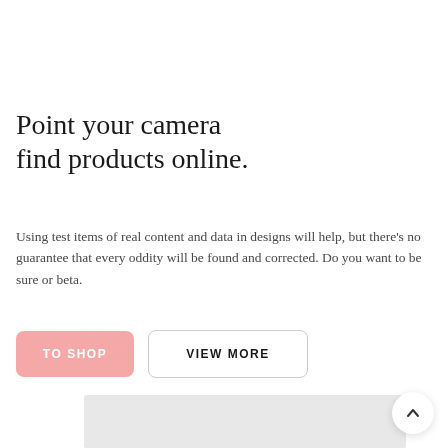Point your camera find products online.
Using test items of real content and data in designs will help, but there's no guarantee that every oddity will be found and corrected. Do you want to be sure or beta.
TO SHOP
VIEW MORE
[Figure (other): Gray placeholder image block at bottom of page]